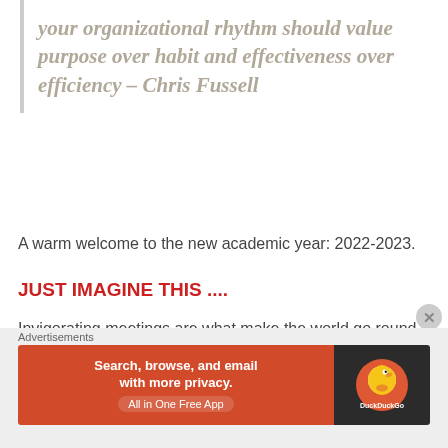your organizational rhythm should value purpose over habit and effectiveness over efficiency – Chris Fussell
A warm welcome to the new academic year: 2022-2023.
JUST IMAGINE THIS ....
Invigorating meetings are what make the world go round. The goal is clear, and accomplishing it is vital to everyone who is participating in the process. There is an agenda, which is typically developed with collaborative input, and the group proceeds through the agenda at a
Advertisements
[Figure (screenshot): DuckDuckGo advertisement banner: orange section with text 'Search, browse, and email with more privacy. All in One Free App' and dark section with DuckDuckGo duck logo]